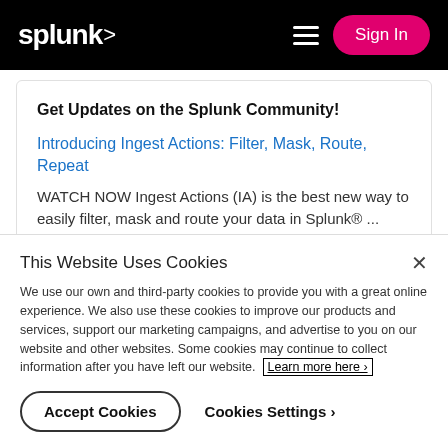splunk> Sign In
Get Updates on the Splunk Community!
Introducing Ingest Actions: Filter, Mask, Route, Repeat
WATCH NOW Ingest Actions (IA) is the best new way to easily filter, mask and route your data in Splunk® ...
This Website Uses Cookies
We use our own and third-party cookies to provide you with a great online experience. We also use these cookies to improve our products and services, support our marketing campaigns, and advertise to you on our website and other websites. Some cookies may continue to collect information after you have left our website. Learn more here >
Accept Cookies
Cookies Settings ›